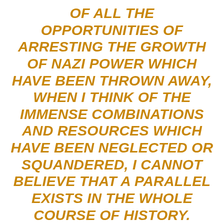OF ALL THE OPPORTUNITIES OF ARRESTING THE GROWTH OF NAZI POWER WHICH HAVE BEEN THROWN AWAY, WHEN I THINK OF THE IMMENSE COMBINATIONS AND RESOURCES WHICH HAVE BEEN NEGLECTED OR SQUANDERED, I CANNOT BELIEVE THAT A PARALLEL EXISTS IN THE WHOLE COURSE OF HISTORY.

DO NOT SUPPOSE THAT THIS IS THE END. THIS IS ONLY THE BEGINNING OF THE RECKONING. THIS IS ONLY THE FIRST SIP, THE FIRST FORETASTE OF A BITTER CUP WHICH WILL BE